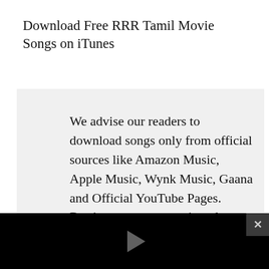Download Free RRR Tamil Movie Songs on iTunes
We advise our readers to download songs only from official sources like Amazon Music, Apple Music, Wynk Music, Gaana and Official YouTube Pages. Don’t support or use pirated websites like...
[Figure (screenshot): Black video player overlay with a gray play button triangle in the center, and a dark close button with X in the top right corner]